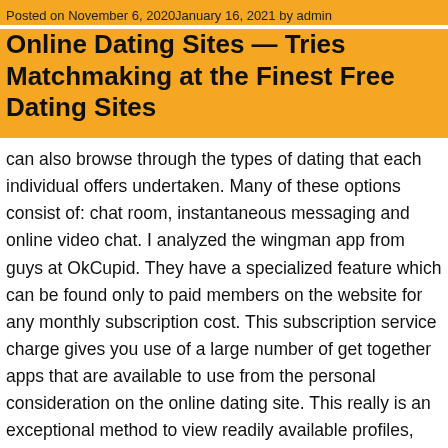Posted on November 6, 2020January 16, 2021 by admin
Online Dating Sites — Tries Matchmaking at the Finest Free Dating Sites
can also browse through the types of dating that each individual offers undertaken. Many of these options consist of: chat room, instantaneous messaging and online video chat. I analyzed the wingman app from guys at OkCupid. They have a specialized feature which can be found only to paid members on the website for any monthly subscription cost. This subscription service charge gives you use of a large number of get together apps that are available to use from the personal consideration on the online dating site. This really is an exceptional method to view readily available profiles, viewpoint their needs and wants and to learn more about the person that is certainly sending you a message. You can easily set up a moment that works perfect for both both you and the person you are looking at to begin a chat period.